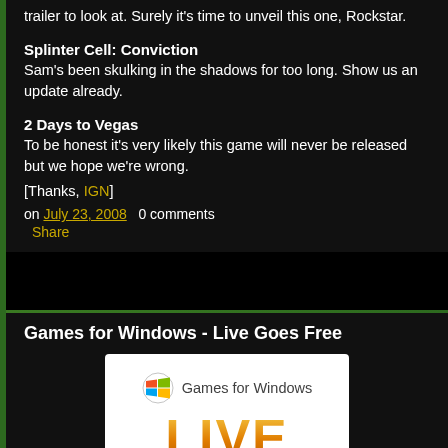trailer to look at. Surely it's time to unveil this one, Rockstar.
Splinter Cell: Conviction
Sam's been skulking in the shadows for too long. Show us an update already.
2 Days to Vegas
To be honest it's very likely this game will never be released but we hope we're wrong.
[Thanks, IGN]
on July 23, 2008   0 comments
  Share
Games for Windows - Live Goes Free
[Figure (logo): Games for Windows LIVE logo with Windows logo icon, text 'Games for Windows' and large orange 'LIVE' text. Caption: 'LIVE gaming comes to Windows']